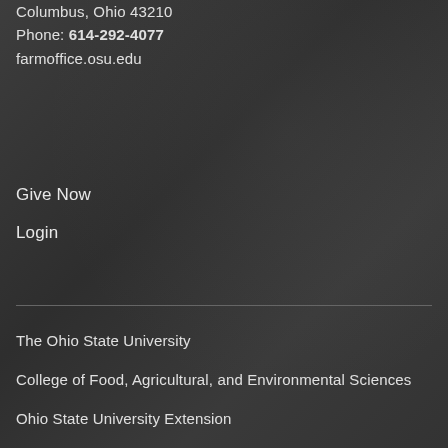2120 Fyffe Road
Columbus, Ohio 43210
Phone: 614-292-4077
farmoffice.osu.edu
Give Now
Login
The Ohio State University
College of Food, Agricultural, and Environmental Sciences
Ohio State University Extension
Ohio Agricultural Research and Development Center